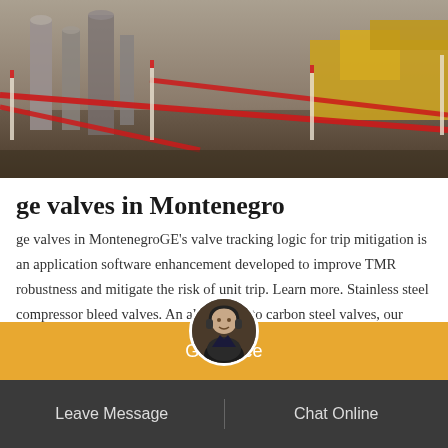[Figure (photo): Industrial scene with red barrier tape, large metal cylindrical structures and yellow machinery/vehicles in the background, outdoor industrial facility.]
ge valves in Montenegro
ge valves in MontenegroGE's valve tracking logic for trip mitigation is an application software enhancement developed to improve TMR robustness and mitigate the risk of unit trip. Learn more. Stainless steel compressor bleed valves. An alternative to carbon steel valves, our stainless-steel compressor bleed valve can improve the reliability and availability of your
Get Price
Leave Message
Chat Online